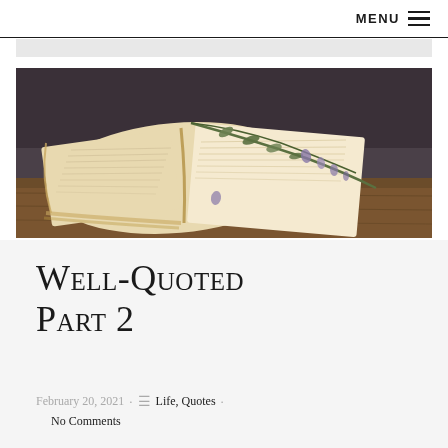MENU ≡
[Figure (photo): An open vintage book with a sprig of dried lavender/herbs resting on its pages, lying on a wooden surface with a dark background.]
Well-Quoted Part 2
February 20, 2021 · ≡ Life, Quotes · No Comments